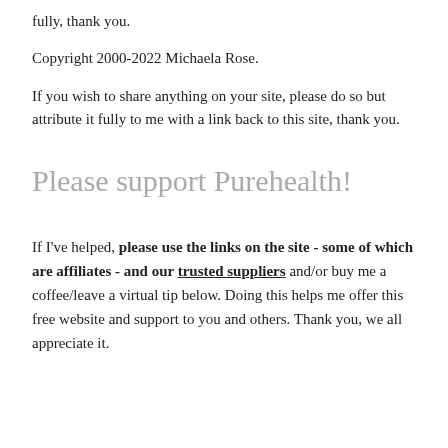fully, thank you.
Copyright 2000-2022 Michaela Rose.
If you wish to share anything on your site, please do so but attribute it fully to me with a link back to this site, thank you.
Please support Purehealth!
If I've helped, please use the links on the site - some of which are affiliates - and our trusted suppliers and/or buy me a coffee/leave a virtual tip below. Doing this helps me offer this free website and support to you and others. Thank you, we all appreciate it.